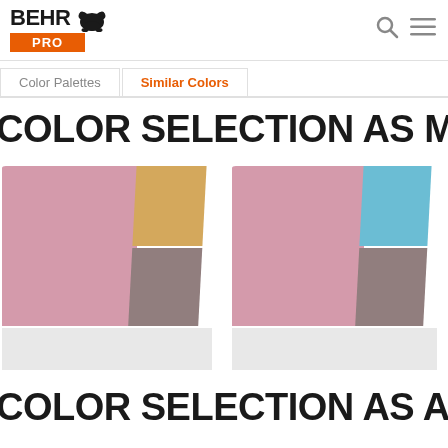[Figure (logo): BEHR PRO logo with bear icon]
Color Palettes
Similar Colors
COLOR SELECTION AS MAIN
[Figure (illustration): Three color palette swatches showing paint color combinations with pink as main color. First swatch: pink main with golden-tan and taupe accents, light gray trim. Second swatch: pink main with sky blue and taupe accents, light gray trim. Third swatch: pink main only visible partially.]
COLOR SELECTION AS ACCENT